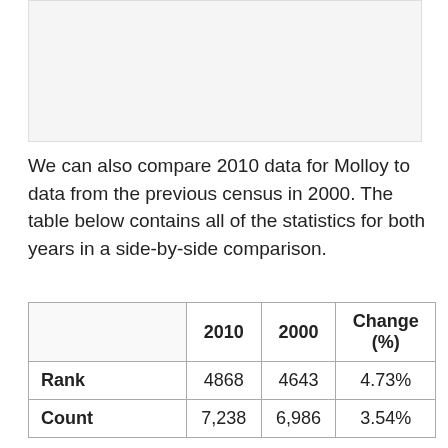[Figure (other): Placeholder image area at top of page]
We can also compare 2010 data for Molloy to data from the previous census in 2000. The table below contains all of the statistics for both years in a side-by-side comparison.
|  | 2010 | 2000 | Change (%) |
| --- | --- | --- | --- |
| Rank | 4868 | 4643 | 4.73% |
| Count | 7,238 | 6,986 | 3.54% |